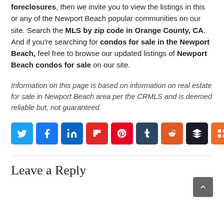foreclosures, then we invite you to view the listings in this or any of the Newport Beach popular communities on our site. Search the MLS by zip code in Orange County, CA. And if you're searching for condos for sale in the Newport Beach, feel free to browse our updated listings of Newport Beach condos for sale on our site.
Information on this page is based on information on real estate for sale in Newport Beach area per the CRMLS and is deemed reliable but, not guaranteed.
[Figure (other): Social sharing buttons row: Twitter, Facebook, LinkedIn, Flipboard, Pinterest, Tumblr, Reddit, Buffer, Mix]
Leave a Reply